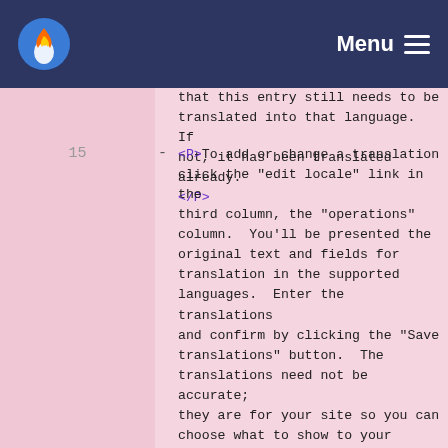Menu
that this entry still needs to be translated into that language.  If not, it has been translated already.
</P>
15  -  <P>To add or change a translation click the "edit locale" link in the third column, the "operations" column.  You'll be presented the original text and fields for translation in the supported languages.  Enter the translations and confirm by clicking the "Save translations" button.  The translations need not be accurate; they are for your site so you can choose what to show to your users.
</P>
16  -  <P>To delete a translation, click the "delete locale" link at the overview page and the translation will be immediately deleted without
translated into that language.  If not, it has been translated already.
</P>
15 - <P>To add or change a translation click the "edit locale" link in the third column, the "operations" column.  You'll be presented the original text and fields for translation in the supported languages.  Enter the translations and confirm by clicking the "Save translations" button.  The translations need not be accurate; they are for your site so you can choose what to show to your users.
</P>
16 - <P>To delete a translation, click the "delete locale" link at the overview page and the translation will be immediately deleted without